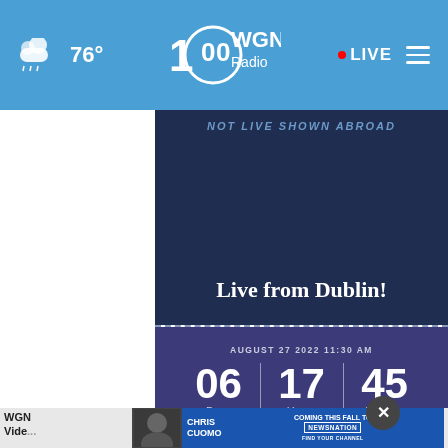76° WGN Radio LIVE
[Figure (screenshot): WGN Radio website screenshot showing a countdown timer for a Live from Dublin! event on August 27 2022 11:30 AM with 06 Days, 17 Hours, 45 Minutes remaining]
Live from Dublin!
AUGUST 27 2022 11:30 AM
06 Days | 17 Hours | 45 Minutes
WGN Vide...
[Figure (screenshot): Chris Cuomo Coming This Fall To NewsNation advertisement banner]